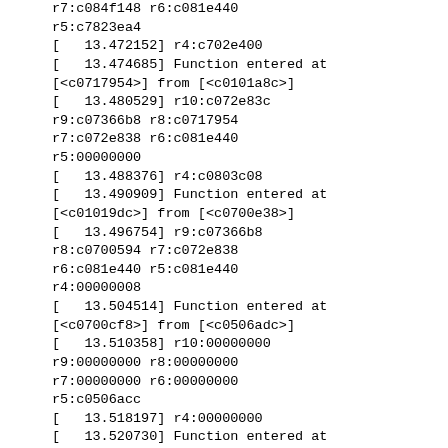r7:c084f148 r6:c081e440
r5:c7823ea4
[   13.472152] r4:c702e400
[   13.474685] Function entered at
[<c0717954>] from [<c0101a8c>]
[   13.480529] r10:c072e83c
r9:c07366b8 r8:c0717954
r7:c072e838 r6:c081e440
r5:00000000
[   13.488376] r4:c0803c08
[   13.490909] Function entered at
[<c01019dc>] from [<c0700e38>]
[   13.496754] r9:c07366b8
r8:c0700594 r7:c072e838
r6:c081e440 r5:c081e440
r4:00000008
[   13.504514] Function entered at
[<c0700cf8>] from [<c0506adc>]
[   13.510358] r10:00000000
r9:00000000 r8:00000000
r7:00000000 r6:00000000
r5:c0506acc
[   13.518197] r4:00000000
[   13.520730] Function entered at
[<c0506acc>] from [<c0102788>]
[   13.526570] r5:c0506acc
r4:00000000
[   13.530863] ubi0 warning:
0xc037c9e4: error -74 (ECC error)
while reading 64 bytes from PEB
115:0, read only 64 bytes, retry